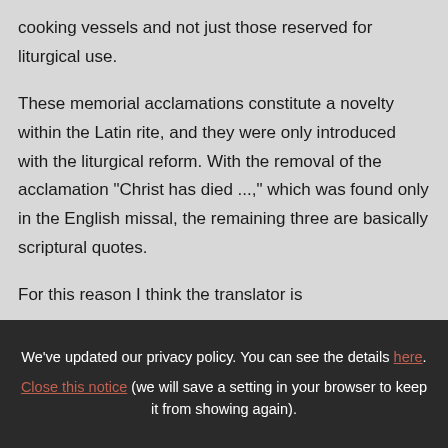cooking vessels and not just those reserved for liturgical use.

These memorial acclamations constitute a novelty within the Latin rite, and they were only introduced with the liturgical reform. With the removal of the acclamation "Christ has died ...," which was found only in the English missal, the remaining three are basically scriptural quotes.

For this reason I think the translator is
We've updated our privacy policy. You can see the details here. Close this notice (we will save a setting in your browser to keep it from showing again).